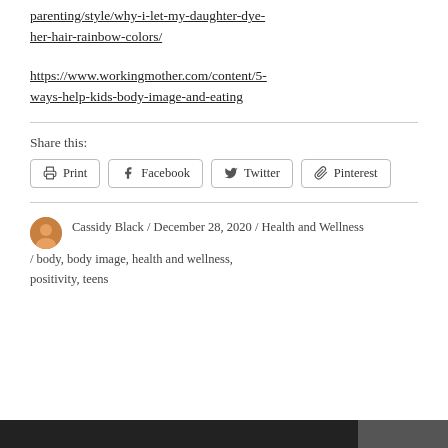parenting/style/why-i-let-my-daughter-dye-her-hair-rainbow-colors/
https://www.workingmother.com/content/5-ways-help-kids-body-image-and-eating
Share this:
Print
Facebook
Twitter
Pinterest
Cassidy Black / December 28, 2020 / Health and Wellness / body, body image, health and wellness, positivity, teens